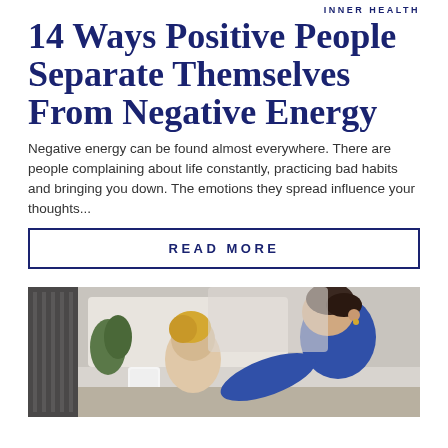INNER HEALTH
14 Ways Positive People Separate Themselves From Negative Energy
Negative energy can be found almost everywhere. There are people complaining about life constantly, practicing bad habits and bringing you down. The emotions they spread influence your thoughts...
READ MORE
[Figure (photo): Two women sitting at a table, one leaning over toward the other, indoor setting with soft background]